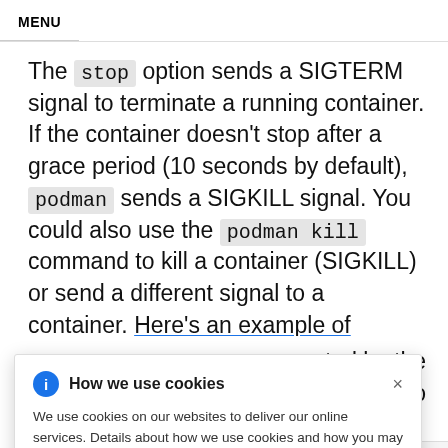MENU
The stop option sends a SIGTERM signal to terminate a running container. If the container doesn't stop after a grace period (10 seconds by default), podman sends a SIGKILL signal. You could also use the podman kill command to kill a container (SIGKILL) or send a different signal to a container. Here's an example of sending a [truncated by overlay] ted by the [truncated] cation to
How we use cookies
We use cookies on our websites to deliver our online services. Details about how we use cookies and how you may disable them are set out in our Privacy Statement. By using this website you agree to our use of cookies.
lda000a11
30c888097a